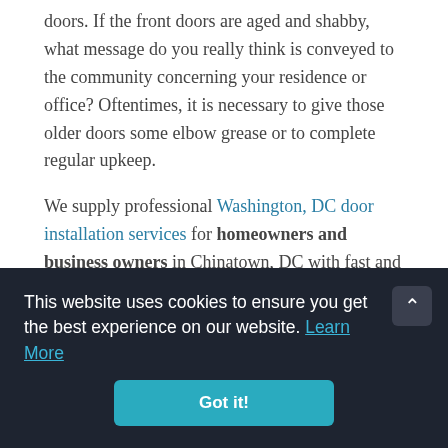doors. If the front doors are aged and shabby, what message do you really think is conveyed to the community concerning your residence or office? Oftentimes, it is necessary to give those older doors some elbow grease or to complete regular upkeep.
We supply professional Washington, DC door installation services for homeowners and business owners in Chinatown, DC with fast and friendly service, free estimates, and 24-hour door assistance. Our company is a local, honest business that proudly delivers superior services to residents of Chinatown.
This website uses cookies to ensure you get the best experience on our website. Learn More
Got it!